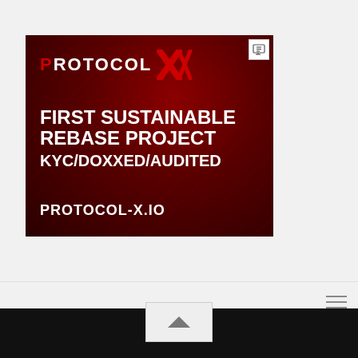[Figure (infographic): Dark red advertisement banner for Protocol X — a cryptocurrency/DeFi project. Shows the Protocol X logo at top, then bold white text reading 'FIRST SUSTAINABLE REBASE PROJECT KYC/DOXXED/AUDITED' and the URL 'PROTOCOL-X.IO' at the bottom.]